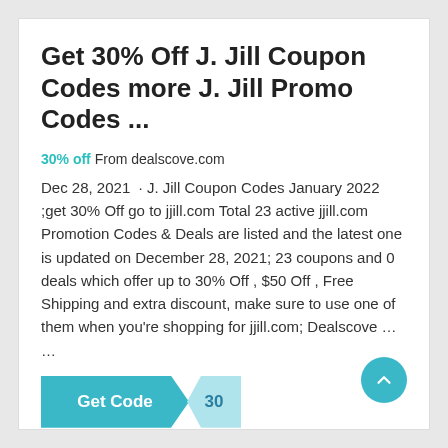Get 30% Off J. Jill Coupon Codes more J. Jill Promo Codes ...
30% off From dealscove.com
Dec 28, 2021  · J. Jill Coupon Codes January 2022 ;get 30% Off go to jjill.com Total 23 active jjill.com Promotion Codes & Deals are listed and the latest one is updated on December 28, 2021; 23 coupons and 0 deals which offer up to 30% Off , $50 Off , Free Shipping and extra discount, make sure to use one of them when you're shopping for jjill.com; Dealscove … …
[Figure (other): Get Code button with coupon code '30' badge in teal/cyan color]